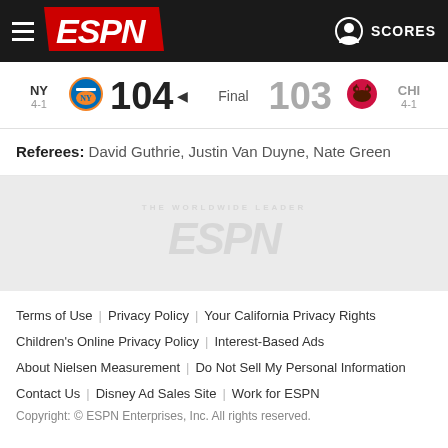ESPN - SCORES
NY 4-1  104  Final  103  CHI 4-1
Referees: David Guthrie, Justin Van Duyne, Nate Green
[Figure (logo): ESPN watermark logo in gray area]
Terms of Use | Privacy Policy | Your California Privacy Rights | Children's Online Privacy Policy | Interest-Based Ads | About Nielsen Measurement | Do Not Sell My Personal Information | Contact Us | Disney Ad Sales Site | Work for ESPN | Copyright: © ESPN Enterprises, Inc. All rights reserved.